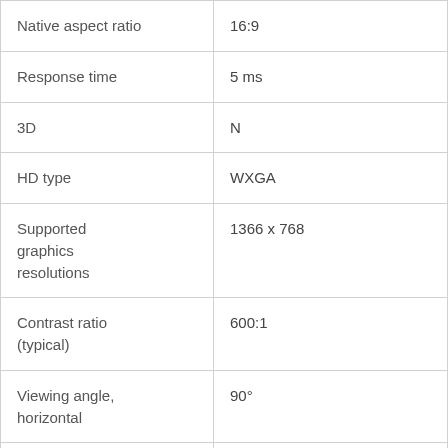| Native aspect ratio | 16:9 |
| Response time | 5 ms |
| 3D | N |
| HD type | WXGA |
| Supported graphics resolutions | 1366 x 768 |
| Contrast ratio (typical) | 600:1 |
| Viewing angle, horizontal | 90° |
| Viewing angle, | 65° |